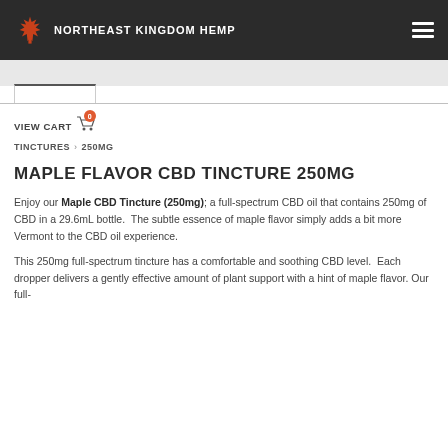NORTHEAST KINGDOM HEMP
VIEW CART 0
TINCTURES › 250MG
MAPLE FLAVOR CBD TINCTURE 250MG
Enjoy our Maple CBD Tincture (250mg); a full-spectrum CBD oil that contains 250mg of CBD in a 29.6mL bottle.  The subtle essence of maple flavor simply adds a bit more Vermont to the CBD oil experience.
This 250mg full-spectrum tincture has a comfortable and soothing CBD level.  Each dropper delivers a gently effective amount of plant support with a hint of maple flavor. Our full-